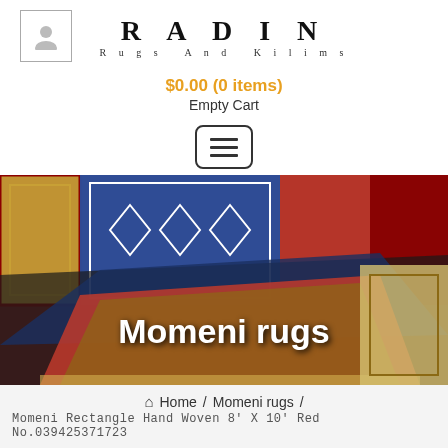[Figure (logo): RADIN Rugs And Kilims logo with user icon placeholder box on the left]
$0.00 (0 items)
Empty Cart
[Figure (other): Hamburger menu button icon]
[Figure (photo): Photo of colorful patterned rugs and kilims displayed in a shop, with text overlay 'Momeni rugs']
Home / Momeni rugs / Momeni Rectangle Hand Woven 8' X 10' Red No.039425371723